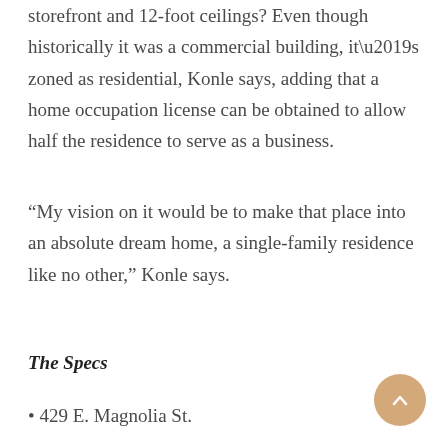storefront and 12-foot ceilings? Even though historically it was a commercial building, it’s zoned as residential, Konle says, adding that a home occupation license can be obtained to allow half the residence to serve as a business.
“My vision on it would be to make that place into an absolute dream home, a single-family residence like no other,” Konle says.
The Specs
• 429 E. Magnolia St.